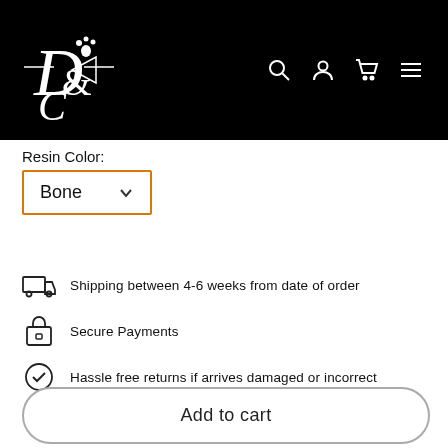[Figure (logo): Dark header bar with stylized D&C logo with paw print on the left, and navigation icons (search, account, cart, menu) on the right]
Resin Color:
Bone
Shipping between 4-6 weeks from date of order
Secure Payments
Hassle free returns if arrives damaged or incorrect
Very responsive customer service
In stock
Add to cart